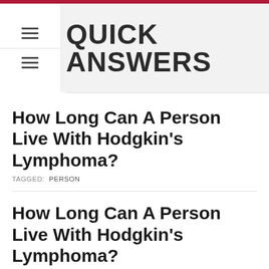QUICK ANSWERS
How Long Can A Person Live With Hodgkin’s Lymphoma?
TAGGED: PERSON
How Long Can A Person Live With Hodgkin’s Lymphoma?
TAGGED: LONG, LYMPHOMA